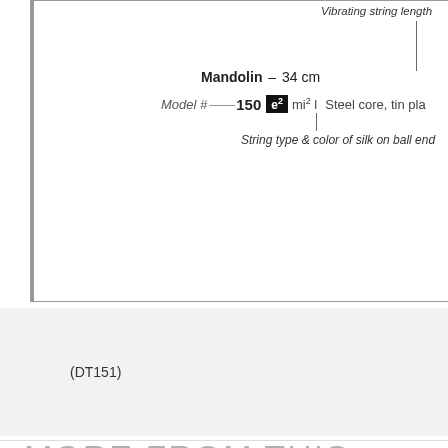[Figure (schematic): Partial diagram showing Mandolin string specification chart. Labels include 'Vibrating string length', 'Mandolin – 34 cm', 'Model #—150', note box 'e2', 'mi² l', 'Steel core, tin pla...', and 'String type & color of silk on ball end']
(DT151)
MORE FROM THIS CATEGORY
Thomastik 154 Mandolin Precision Set
$95.95